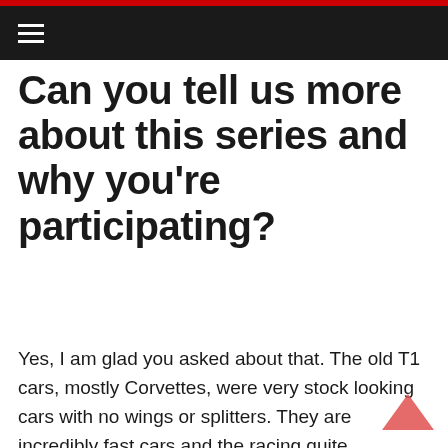Can you tell us more about this series and why you're participating?
Yes, I am glad you asked about that. The old T1 cars, mostly Corvettes, were very stock looking cars with no wings or splitters. They are incredibly fast cars and the racing quite competitive. They are kind of like V8 powered Spec Miatas, but obviously way faster. You can get close in for racing, jostle a bit, run two wheels or four wheels off at 100 MPH and come back on track and keep racing. With GT cars with splitters and such the driving has to be more